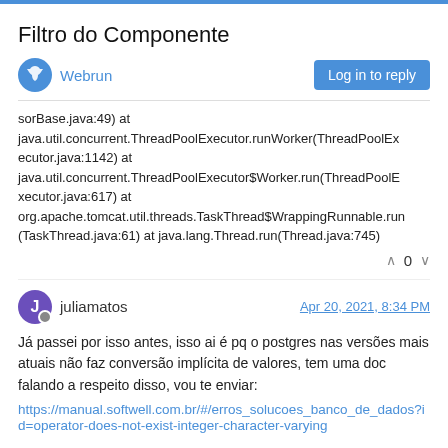Filtro do Componente
Webrun
Log in to reply
sorBase.java:49) at java.util.concurrent.ThreadPoolExecutor.runWorker(ThreadPoolExecutor.java:1142) at java.util.concurrent.ThreadPoolExecutor$Worker.run(ThreadPoolExecute r.java:617) at org.apache.tomcat.util.threads.TaskThread$WrappingRunnable.run(TaskThread.java:61) at java.lang.Thread.run(Thread.java:745)
0
juliamatos
Apr 20, 2021, 8:34 PM
Já passei por isso antes, isso ai é pq o postgres nas versões mais atuais não faz conversão implícita de valores, tem uma doc falando a respeito disso, vou te enviar:
https://manual.softwell.com.br/#/erros_solucoes_banco_de_dados?id=operator-does-not-exist-integer-character-varying